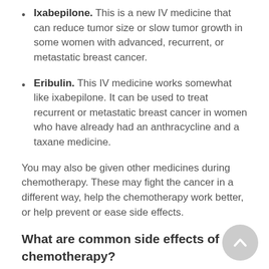Ixabepilone. This is a new IV medicine that can reduce tumor size or slow tumor growth in some women with advanced, recurrent, or metastatic breast cancer.
Eribulin. This IV medicine works somewhat like ixabepilone. It can be used to treat recurrent or metastatic breast cancer in women who have already had an anthracycline and a taxane medicine.
You may also be given other medicines during chemotherapy. These may fight the cancer in a different way, help the chemotherapy work better, or help prevent or ease side effects.
What are common side effects of chemotherapy?